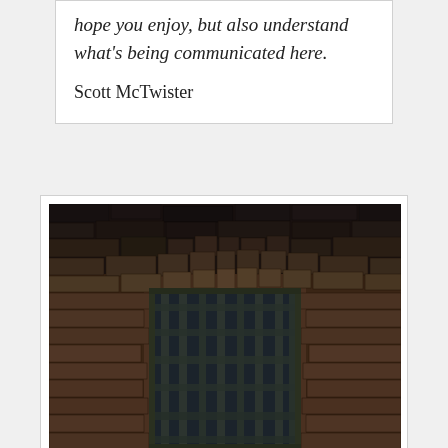hope you enjoy, but also understand what's being communicated here.

Scott McTwister
[Figure (photo): Photograph of an old stone wall with a barred window featuring wooden frames in dark tones. The arched brickwork above the window is made of rough-cut stones in earthy brown and dark tones.]